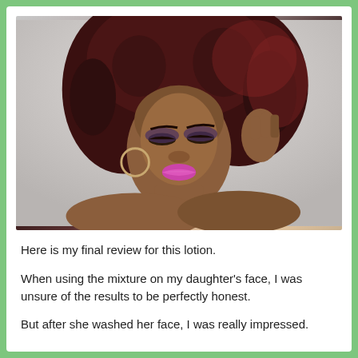[Figure (photo): A young Black woman with large voluminous dark reddish-brown curly natural hair, wearing bold pink/magenta lipstick, smoky eye makeup, and hoop earrings. She is posing with one hand raised near her hair, looking downward, against a light grey background. Bare shoulders visible.]
Here is my final review for this lotion.
When using the mixture on my daughter’s face, I was unsure of the results to be perfectly honest.
But after she washed her face, I was really impressed.